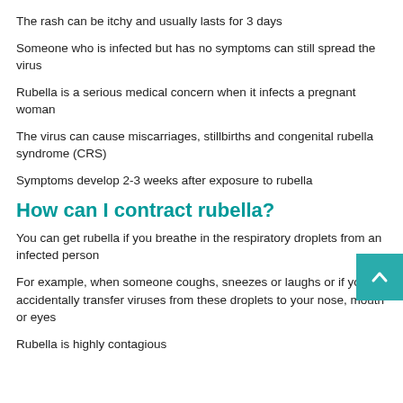The rash can be itchy and usually lasts for 3 days
Someone who is infected but has no symptoms can still spread the virus
Rubella is a serious medical concern when it infects a pregnant woman
The virus can cause miscarriages, stillbirths and congenital rubella syndrome (CRS)
Symptoms develop 2-3 weeks after exposure to rubella
How can I contract rubella?
You can get rubella if you breathe in the respiratory droplets from an infected person
For example, when someone coughs, sneezes or laughs or if you accidentally transfer viruses from these droplets to your nose, mouth or eyes
Rubella is highly contagious